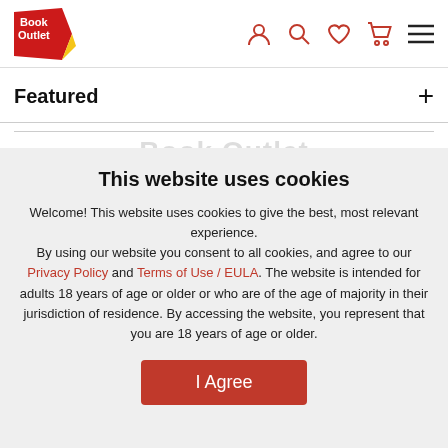Book Outlet header with logo and icons
Featured
This website uses cookies
Welcome! This website uses cookies to give the best, most relevant experience. By using our website you consent to all cookies, and agree to our Privacy Policy and Terms of Use / EULA. The website is intended for adults 18 years of age or older or who are of the age of majority in their jurisdiction of residence. By accessing the website, you represent that you are 18 years of age or older.
I Agree